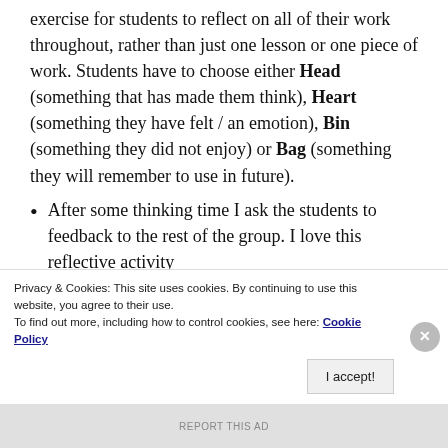exercise for students to reflect on all of their work throughout, rather than just one lesson or one piece of work. Students have to choose either Head (something that has made them think), Heart (something they have felt / an emotion), Bin (something they did not enjoy) or Bag (something they will remember to use in future).
After some thinking time I ask the students to feedback to the rest of the group. I love this reflective activity
Privacy & Cookies: This site uses cookies. By continuing to use this website, you agree to their use. To find out more, including how to control cookies, see here: Cookie Policy